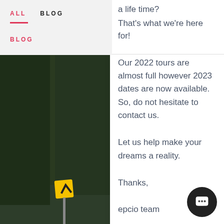ALL   BLOG
BLOG
[Figure (photo): Two cyclists riding road bikes on a winding road with trees and a yellow curve warning sign in the background.]
a life time?
That's what we're here for!
Our 2022 tours are almost full however 2023 dates are now available. So, do not hesitate to contact us.
Let us help make your dreams a reality.
Thanks,
epcio team
Social Speed
We're all guilty of it. Getting caught up in the need to im... and surpass imagined expectations.